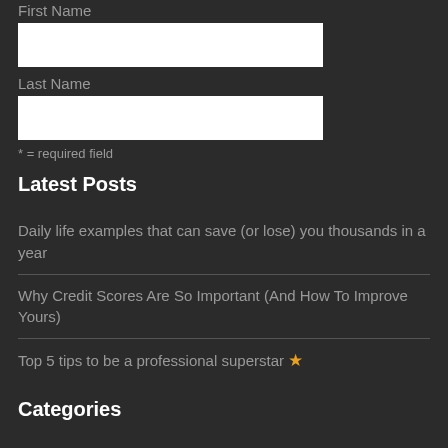First Name
[input field]
Last Name
[input field]
* = required field
Latest Posts
Daily life examples that can save (or lose) you thousands in a year
Why Credit Scores Are So Important (And How To Improve Yours)
Top 5 tips to be a professional superstar ★
Categories